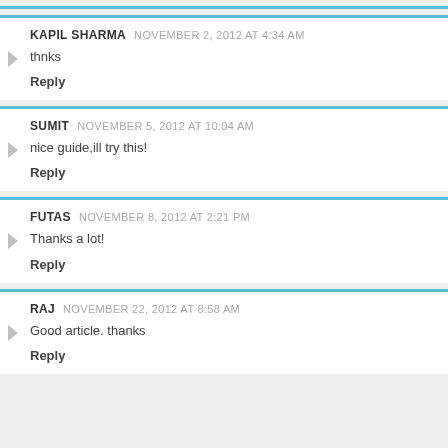KAPIL SHARMA  NOVEMBER 2, 2012 AT 4:34 AM
thnks
Reply
SUMIT  NOVEMBER 5, 2012 AT 10:04 AM
nice guide,ill try this!
Reply
FUTAS  NOVEMBER 8, 2012 AT 2:21 PM
Thanks a lot!
Reply
RAJ  NOVEMBER 22, 2012 AT 8:58 AM
Good article. thanks
Reply